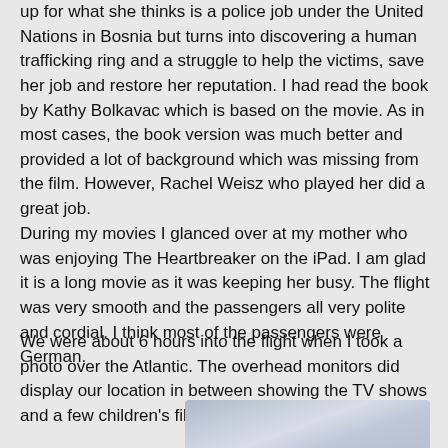up for what she thinks is a police job under the United Nations in Bosnia but turns into discovering a human trafficking ring and a struggle to help the victims, save her job and restore her reputation. I had read the book by Kathy Bolkavac which is based on the movie. As in most cases, the book version was much better and provided a lot of background which was missing from the film. However, Rachel Weisz who played her did a great job.
During my movies I glanced over at my mother who was enjoying The Heartbreaker on the iPad. I am glad it is a long movie as it was keeping her busy. The flight was very smooth and the passengers all very polite and cordial. I think most of the passengers were German.
We were about 6 hours into the flight when I took a photo over the Atlantic. The overhead monitors did display our location in between showing the TV shows and a few children's films.
[Figure (photo): A photo taken over the Atlantic from an airplane, showing a view outside.]